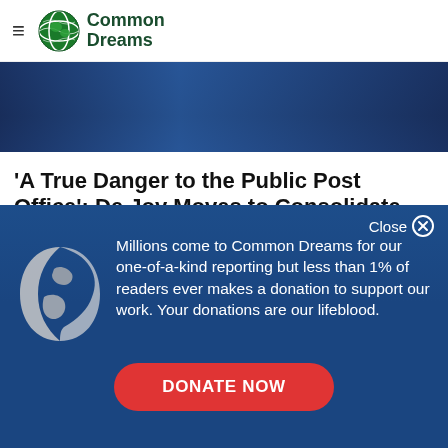Common Dreams
[Figure (photo): Dark blue background photo, partially visible, showing a person in front of a blue-lit scene.]
'A True Danger to the Public Post Office': De Joy Moves to Consolidate USPS
Millions come to Common Dreams for our one-of-a-kind reporting but less than 1% of readers ever makes a donation to support our work. Your donations are our lifeblood.
DONATE NOW